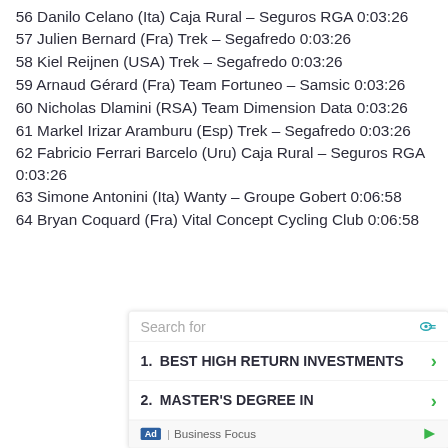56 Danilo Celano (Ita) Caja Rural – Seguros RGA 0:03:26
57 Julien Bernard (Fra) Trek – Segafredo 0:03:26
58 Kiel Reijnen (USA) Trek – Segafredo 0:03:26
59 Arnaud Gérard (Fra) Team Fortuneo – Samsic 0:03:26
60 Nicholas Dlamini (RSA) Team Dimension Data 0:03:26
61 Markel Irizar Aramburu (Esp) Trek – Segafredo 0:03:26
62 Fabricio Ferrari Barcelo (Uru) Caja Rural – Seguros RGA 0:03:26
63 Simone Antonini (Ita) Wanty – Groupe Gobert 0:06:58
64 Bryan Coquard (Fra) Vital Concept Cycling Club 0:06:58
65 … Lemoine (Fra) Cofidis Solutions Crédits
Search for
1.  BEST HIGH RETURN INVESTMENTS
2.  MASTER'S DEGREE IN
Ad | Business Focus